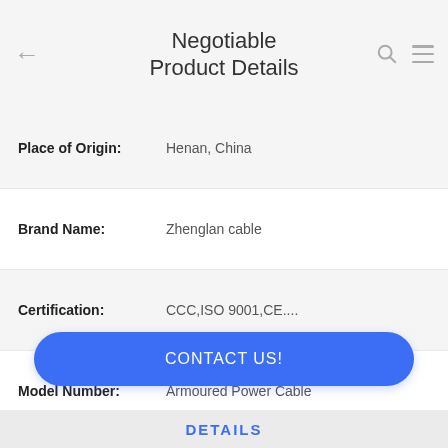Negotiable Product Details
| Field | Value |
| --- | --- |
| Place of Origin: | Henan, China |
| Brand Name: | Zhenglan cable |
| Certification: | CCC,ISO 9001,CE.... |
| Model Number: | Armoured Power Cable |
CONTACT US!
DETAILS
Similar Products